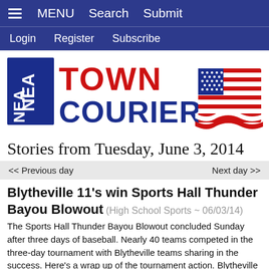MENU  Search  Submit
Login  Register  Subscribe
[Figure (logo): NEA Town Courier logo with American flag]
Stories from Tuesday, June 3, 2014
<< Previous day    Next day >>
Blytheville 11's win Sports Hall Thunder Bayou Blowout  (High School Sports ~ 06/03/14)
The Sports Hall Thunder Bayou Blowout concluded Sunday after three days of baseball. Nearly 40 teams competed in the three-day tournament with Blytheville teams sharing in the success. Here's a wrap up of the tournament action. Blytheville 11's 13, Big Bucks 3...